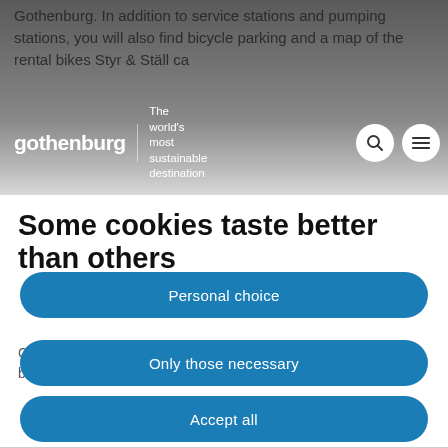[Figure (screenshot): Gothenburg tourism website header with dark overlay, showing partial text about service stations and bike rental, with 'gothenburg' logo, 'The world's most sustainable destination' tagline, search icon, and hamburger menu icon]
Some cookies taste better than others
Cookies are small notes that are recorded by your internet browser in order to remember details
Personal choice
Only those necessary
Accept all